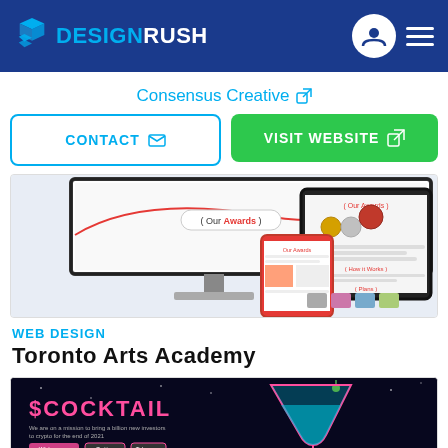DESIGNRUSH
Consensus Creative
CONTACT | VISIT WEBSITE
[Figure (screenshot): Screenshot of Toronto Arts Academy website displayed on desktop monitor, tablet, and mobile phone devices showing 'Our Awards' page with award medals and 'How it Works' and 'Plans' sections]
WEB DESIGN
Toronto Arts Academy
[Figure (screenshot): Dark-themed website screenshot for '$COCKTAIL' showing a neon pink martini glass graphic on dark navy background with text and navigation elements]